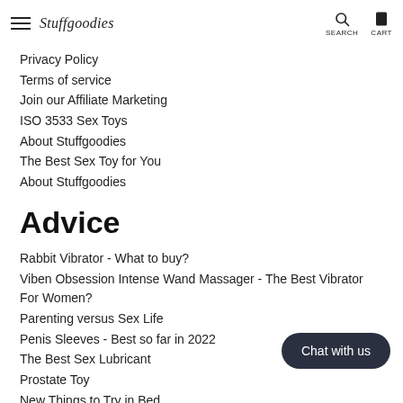Stuffgoodies | SEARCH | CART
Privacy Policy
Terms of service
Join our Affiliate Marketing
ISO 3533 Sex Toys
About Stuffgoodies
The Best Sex Toy for You
About Stuffgoodies
Advice
Rabbit Vibrator - What to buy?
Viben Obsession Intense Wand Massager - The Best Vibrator For Women?
Parenting versus Sex Life
Penis Sleeves - Best so far in 2022
The Best Sex Lubricant
Prostate Toy
New Things to Try in Bed
What is ISO 3533 Sex Toys?
Can Acne Change Your Sex Life?